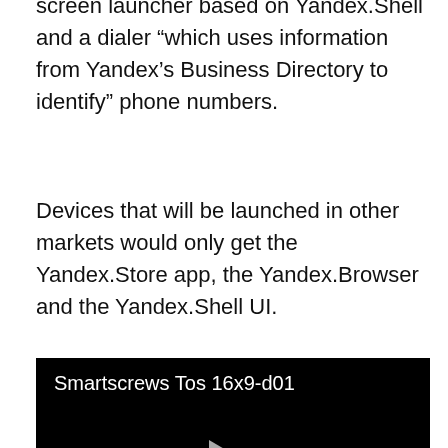screen launcher based on Yandex.Shell and a dialer “which uses information from Yandex’s Business Directory to identify” phone numbers.
Devices that will be launched in other markets would only get the Yandex.Store app, the Yandex.Browser and the Yandex.Shell UI.
[Figure (screenshot): A video player with a black background showing the title 'Smartscrews Tos 16x9-d01' and a play button triangle in the center.]